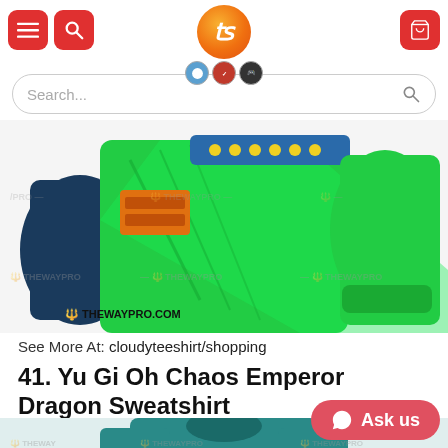[Figure (screenshot): Website header with menu icon, search icon, Tezoonics logo (orange circle with 't' and three badges), and cart icon on red background]
[Figure (screenshot): Search bar with 'Search...' placeholder and magnifying glass icon]
[Figure (photo): Green and navy blue anime sweatshirt product photo with THEWAYPRO.COM watermark]
See More At: cloudyteeshirt/shopping
41. Yu Gi Oh Chaos Emperor Dragon Sweatshirt
[Figure (photo): Teal/dark green anime t-shirt product photo with THEWAYPRO watermark, partially visible at bottom]